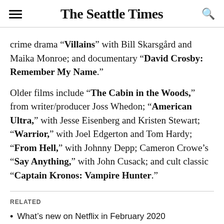The Seattle Times
crime drama “Villains” with Bill Skarsgård and Maika Monroe; and documentary “David Crosby: Remember My Name.”
Older films include “The Cabin in the Woods,” from writer/producer Joss Whedon; “American Ultra,” with Jesse Eisenberg and Kristen Stewart; “Warrior,” with Joel Edgerton and Tom Hardy; “From Hell,” with Johnny Depp; Cameron Crowe’s “Say Anything,” with John Cusack; and cult classic “Captain Kronos: Vampire Hunter.”
RELATED
What's new on Netflix in February 2020